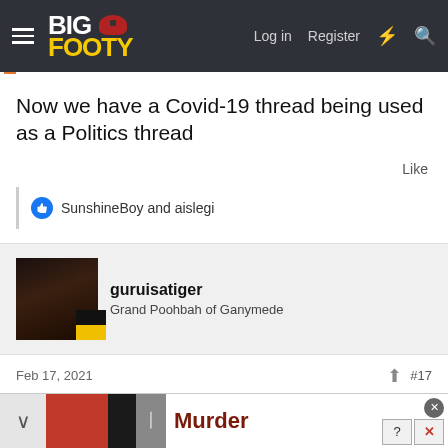BigFooty — Log in  Register
Now we have a Covid-19 thread being used as a Politics thread
Like
SunshineBoy and aislegi
guruisatiger
Grand Poohbah of Ganymede
Feb 17, 2021  #17
[Figure (screenshot): Ad banner showing Murder text with red and black background, close button, X button, ? button]